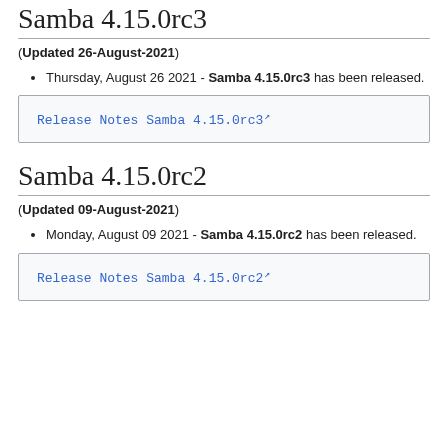Samba 4.15.0rc3
(Updated 26-August-2021)
Thursday, August 26 2021 - Samba 4.15.0rc3 has been released.
Release Notes Samba 4.15.0rc3
Samba 4.15.0rc2
(Updated 09-August-2021)
Monday, August 09 2021 - Samba 4.15.0rc2 has been released.
Release Notes Samba 4.15.0rc2